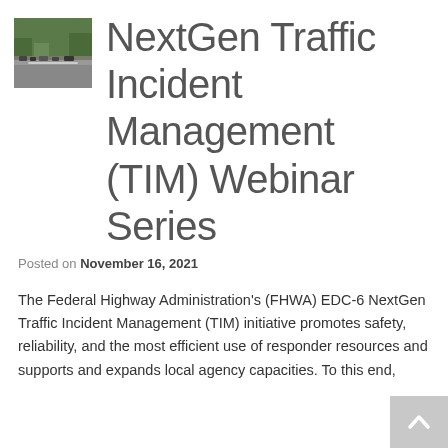[Figure (photo): Small thumbnail image of a highway with vehicles and trees]
NextGen Traffic Incident Management (TIM) Webinar Series
Posted on November 16, 2021
The Federal Highway Administration's (FHWA) EDC-6 NextGen Traffic Incident Management (TIM) initiative promotes safety, reliability, and the most efficient use of responder resources and supports and expands local agency capacities. To this end,